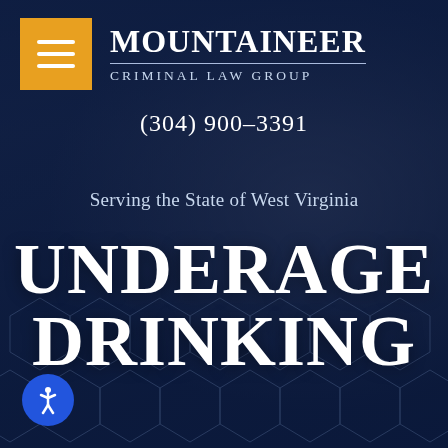[Figure (logo): Mountaineer Criminal Law Group logo with gold hamburger menu icon on left, firm name and tagline on right]
(304) 900-3391
Serving the State of West Virginia
UNDERAGE DRINKING